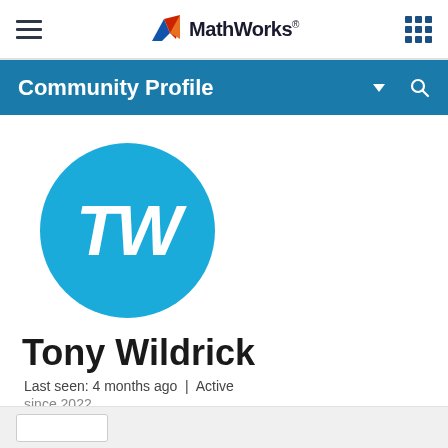MathWorks
Community Profile
[Figure (illustration): Circular avatar with teal/cyan background and white italic initials TW for user Tony Wildrick]
Tony Wildrick
Last seen: 4 months ago | Active
since 2022